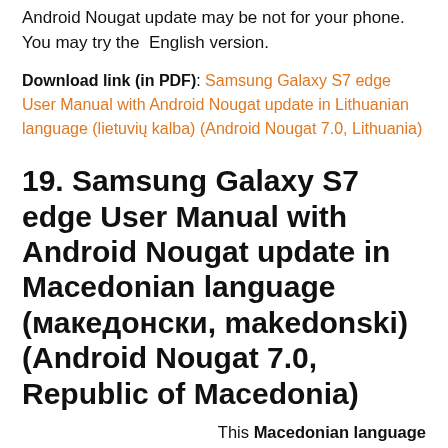Android Nougat update may be not for your phone. You may try the  English version.
Download link (in PDF): Samsung Galaxy S7 edge User Manual with Android Nougat update in Lithuanian language (lietuvių kalba) (Android Nougat 7.0, Lithuania)
19. Samsung Galaxy S7 edge User Manual with Android Nougat update in Macedonian language (македонски, makedonski) (Android Nougat 7.0, Republic of Macedonia)
This Macedonian language